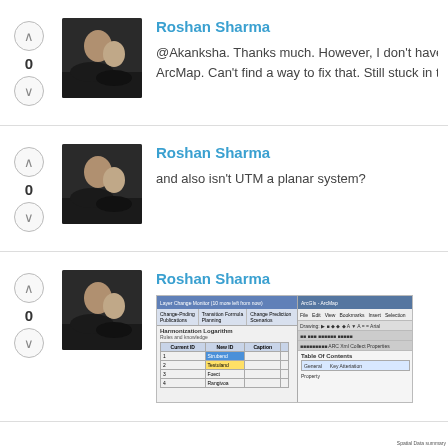[Figure (photo): User avatar photo showing two people]
Roshan Sharma
@Akanksha. Thanks much. However, I don't have b... ArcMap. Can't find a way to fix that. Still stuck in the...
[Figure (photo): User avatar photo showing two people]
Roshan Sharma
and also isn't UTM a planar system?
[Figure (photo): User avatar photo showing two people]
Roshan Sharma
[Figure (screenshot): Screenshot showing ArcMap Layer/Change Monitor and ArcGIS table editor windows]